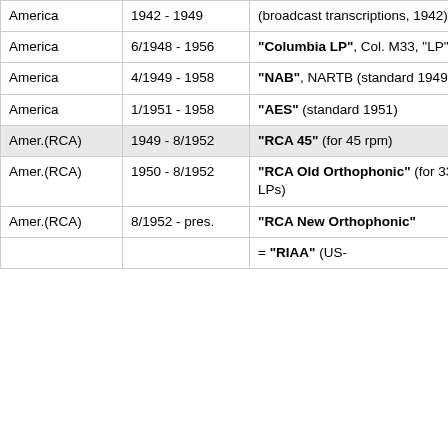| Region | Date Range | Standard Name |
| --- | --- | --- |
| America | 1942 - 1949 | (broadcast transcriptions, 1942) |
| America | 6/1948 - 1956 | "Columbia LP", Col. M33, "LP" [3] |
| America | 4/1949 - 1958 | "NAB", NARTB (standard 1949) [3] |
| America | 1/1951 - 1958 | "AES" (standard 1951) |
| Amer.(RCA) | 1949 - 8/1952 | "RCA 45" (for 45 rpm) |
| Amer.(RCA) | 1950 - 8/1952 | "RCA Old Orthophonic" (for 33⅓ LPs) |
| Amer.(RCA) | 8/1952 - pres. | "RCA New Orthophonic" |
| Amer.(?) | ? - 1954(?) | = "RIAA" (US-... |